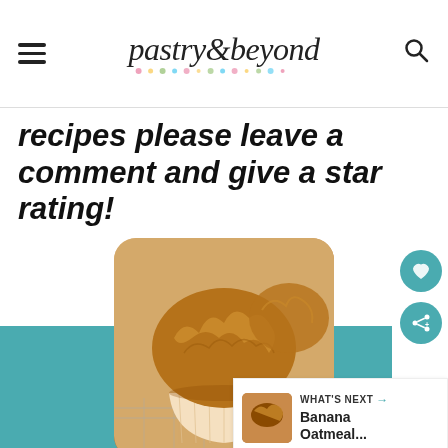pastry&beyond
recipes please leave a comment and give a star rating!
[Figure (photo): A close-up photo of a golden-brown baked muffin in a paper cupcake liner on a wire rack, with more muffins in the background. Overlaid with teal decorative blocks.]
WHAT'S NEXT → Banana Oatmeal...
#AloneTogether